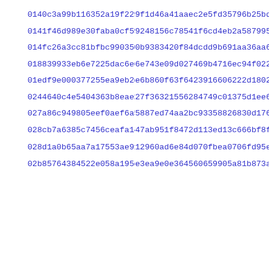0140c3a99b116352a19f229f1d46a41aaec2e5fd35796b25bd62f4f2aa0d4
0141f46d989e30faba0cf59248156c78541f6cd4eb2a5879952d591ace4b1
014fc26a3cc81bfbc990350b9383420f84dcdd9b691aa36aa61db8bca621a
018839933eb6e7225dac6e6e743e09d027469b4716ec94f02282da8915247
01edf9e000377255ea9eb2e6b860f63f6423916606222d1802836a288bf9f
0244640c4e5404363b8eae27f36321556284749c01375d1ee647fde9d10cd
027a86c949805eef0aef6a5887ed74aa2bc93358826830d176ddae06d7cca
028cb7a6385c7456ceafa147ab951f8472d113ed13c666bf8ffaa8275acdb
028d1a0b65aa7a17553ae912960ad6e84d070fbea0706fd95e7dd6bc14f19
02b85764384522e058a195e3ea9e0e364560659905a81b873a7da193c7353